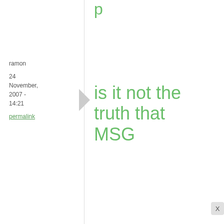ramon
24 November, 2007 - 14:21
permalink
is it not the truth that MSG
is it not the truth that MSG is a compound that the japanese first isolated from konbu? is it also true that to make good dashi one